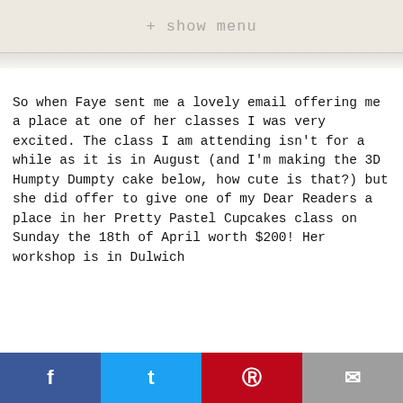+ show menu
So when Faye sent me a lovely email offering me a place at one of her classes I was very excited. The class I am attending isn't for a while as it is in August (and I'm making the 3D Humpty Dumpty cake below, how cute is that?) but she did offer to give one of my Dear Readers a place in her Pretty Pastel Cupcakes class on Sunday the 18th of April worth $200! Her workshop is in Dulwich
f  t  ®  mail